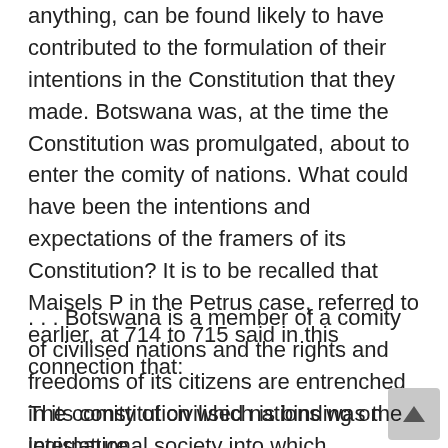anything, can be found likely to have contributed to the formulation of their intentions in the Constitution that they made. Botswana was, at the time the Constitution was promulgated, about to enter the comity of nations. What could have been the intentions and expectations of the framers of its Constitution? It is to be recalled that Maisels P in the Petrus case, referred to earlier, at 714 to 715 said in this connection that:
. . . Botswana is a member of a comity of civilised nations and the rights and freedoms of its citizens are entrenched in its constitution which is binding on the legislature.
The comity of civilised nations was the international society into which Botswana was about to enter at